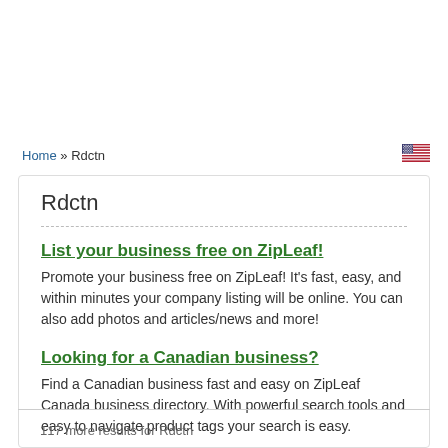Home » Rdctn
Rdctn
List your business free on ZipLeaf!
Promote your business free on ZipLeaf! It's fast, easy, and within minutes your company listing will be online. You can also add photos and articles/news and more!
Looking for a Canadian business?
Find a Canadian business fast and easy on ZipLeaf Canada business directory. With powerful search tools and easy to navigate product tags your search is easy.
117 more results for Rdctn